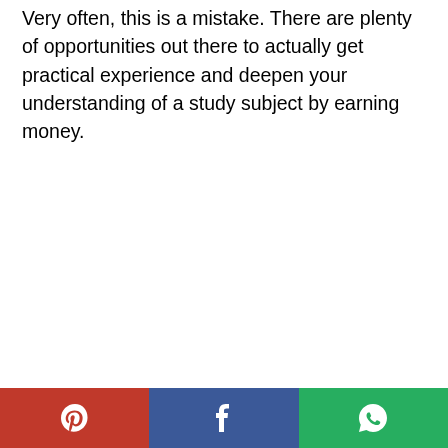Very often, this is a mistake. There are plenty of opportunities out there to actually get practical experience and deepen your understanding of a study subject by earning money.
[Figure (other): Social sharing bar with Pinterest (red), Facebook (blue), and WhatsApp (green) buttons at the bottom of the page]